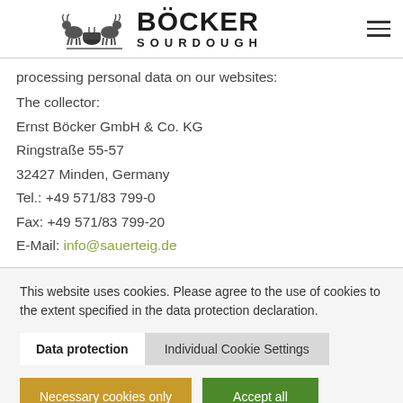[Figure (logo): Böcker Sourdough logo with two goats and company name]
processing personal data on our websites:
The collector:
Ernst Böcker GmbH & Co. KG
Ringstraße 55-57
32427 Minden, Germany
Tel.: +49 571/83 799-0
Fax: +49 571/83 799-20
E-Mail: info@sauerteig.de
This website uses cookies. Please agree to the use of cookies to the extent specified in the data protection declaration.
Data protection | Individual Cookie Settings
Necessary cookies only | Accept all